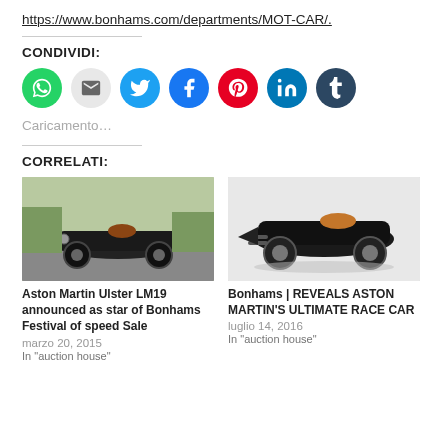https://www.bonhams.com/departments/MOT-CAR/.
CONDIVIDI:
[Figure (infographic): Social sharing icons: WhatsApp (green), Email (gray), Twitter (blue), Facebook (blue), Pinterest (red), LinkedIn (blue), Tumblr (dark navy)]
Caricamento...
CORRELATI:
[Figure (photo): Vintage Aston Martin race car driving on track, black car, outdoor, green background]
Aston Martin Ulster LM19 announced as star of Bonhams Festival of speed Sale
marzo 20, 2015
In "auction house"
[Figure (photo): Vintage Aston Martin race car, black, side view on white/light background, brown seat visible]
Bonhams | REVEALS ASTON MARTIN'S ULTIMATE RACE CAR
luglio 14, 2016
In "auction house"